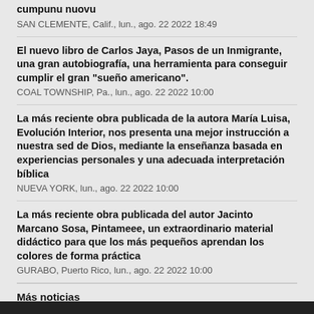cumpunu nuovu
SAN CLEMENTE, Calif., lun., ago. 22 2022 18:49
El nuevo libro de Carlos Jaya, Pasos de un Inmigrante, una gran autobiografía, una herramienta para conseguir cumplir el gran "sueño americano".
COAL TOWNSHIP, Pa., lun., ago. 22 2022 10:00
La más reciente obra publicada de la autora María Luisa, Evolución Interior, nos presenta una mejor instrucción a nuestra sed de Dios, mediante la enseñanza basada en experiencias personales y una adecuada interpretación bíblica
NUEVA YORK, lun., ago. 22 2022 10:00
La más reciente obra publicada del autor Jacinto Marcano Sosa, Pintameee, un extraordinario material didáctico para que los más pequeños aprendan los colores de forma práctica
GURABO, Puerto Rico, lun., ago. 22 2022 10:00
Más noticias